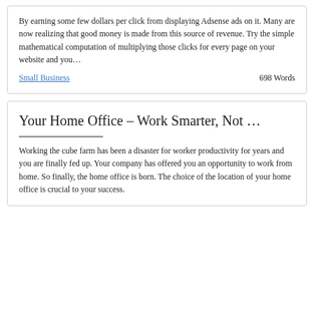By earning some few dollars per click from displaying Adsense ads on it. Many are now realizing that good money is made from this source of revenue. Try the simple mathematical computation of multiplying those clicks for every page on your website and you…
Small Business    698 Words
Your Home Office – Work Smarter, Not …
Working the cube farm has been a disaster for worker productivity for years and you are finally fed up. Your company has offered you an opportunity to work from home. So finally, the home office is born. The choice of the location of your home office is crucial to your success.